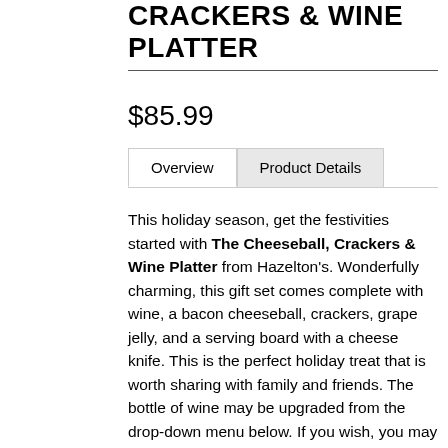CRACKERS & WINE PLATTER
$85.99
Overview | Product Details
This holiday season, get the festivities started with The Cheeseball, Crackers & Wine Platter from Hazelton's. Wonderfully charming, this gift set comes complete with wine, a bacon cheeseball, crackers, grape jelly, and a serving board with a cheese knife. This is the perfect holiday treat that is worth sharing with family and friends. The bottle of wine may be upgraded from the drop-down menu below. If you wish, you may also customize this gift adding on your choice of wine, beer, champagne, gourmet snacks, sweets, and more from our extensive collection.